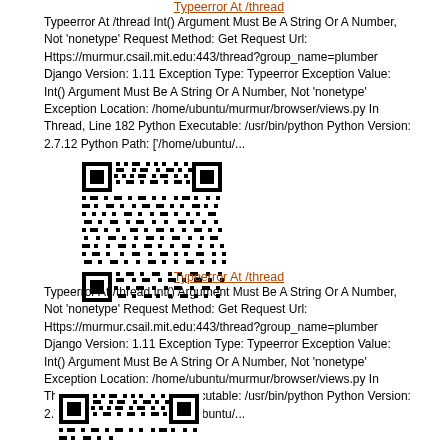Typeerror At /thread
Typeerror At /thread Int() Argument Must Be A String Or A Number, Not 'nonetype' Request Method: Get Request Url: Https://murmur.csail.mit.edu:443/thread?group_name=plumber Django Version: 1.11 Exception Type: Typeerror Exception Value: Int() Argument Must Be A String Or A Number, Not 'nonetype' Exception Location: /home/ubuntu/murmur/browser/views.py In Thread, Line 182 Python Executable: /usr/bin/python Python Version: 2.7.12 Python Path: ['/home/ubuntu/...
[Figure (other): QR code image]
Typeerror At /thread
Typeerror At /thread Int() Argument Must Be A String Or A Number, Not 'nonetype' Request Method: Get Request Url: Https://murmur.csail.mit.edu:443/thread?group_name=plumber Django Version: 1.11 Exception Type: Typeerror Exception Value: Int() Argument Must Be A String Or A Number, Not 'nonetype' Exception Location: /home/ubuntu/murmur/browser/views.py In Thread, Line 182 Python Executable: /usr/bin/python Python Version: 2.7.12 Python Path: ['/home/ubuntu/...
[Figure (other): QR code image (partial)]